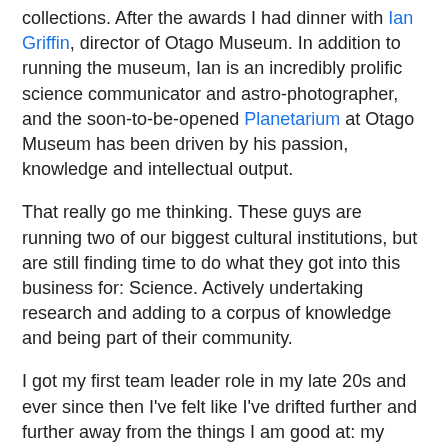collections. After the awards I had dinner with Ian Griffin, director of Otago Museum. In addition to running the museum, Ian is an incredibly prolific science communicator and astro-photographer, and the soon-to-be-opened Planetarium at Otago Museum has been driven by his passion, knowledge and intellectual output.
That really go me thinking. These guys are running two of our biggest cultural institutions, but are still finding time to do what they got into this business for: Science. Actively undertaking research and adding to a corpus of knowledge and being part of their community.
I got my first team leader role in my late 20s and ever since then I've felt like I've drifted further and further away from the things I am good at: my equivalent of making things by hand. It's not astronomy or botany, but my ability to gather and wrestle and interpret and create an experience from information and imagery is something I really treasure - and something I feel I only get to do these days in a rushed or prosaic manner. I badly miss the pleasure of sitting down for an afternoon and just doing something I am good at.